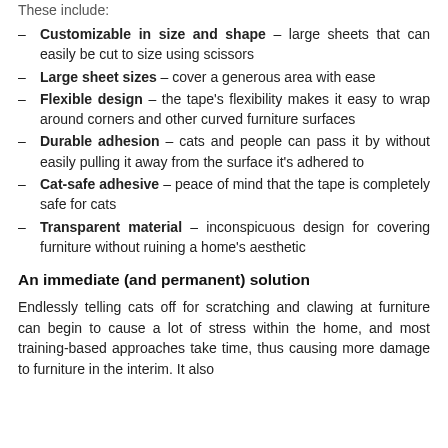These include:
Customizable in size and shape – large sheets that can easily be cut to size using scissors
Large sheet sizes – cover a generous area with ease
Flexible design – the tape's flexibility makes it easy to wrap around corners and other curved furniture surfaces
Durable adhesion – cats and people can pass it by without easily pulling it away from the surface it's adhered to
Cat-safe adhesive – peace of mind that the tape is completely safe for cats
Transparent material – inconspicuous design for covering furniture without ruining a home's aesthetic
An immediate (and permanent) solution
Endlessly telling cats off for scratching and clawing at furniture can begin to cause a lot of stress within the home, and most training-based approaches take time, thus causing more damage to furniture in the interim. It also